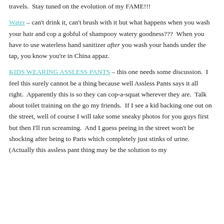travels.  Stay tuned on the evolution of my FAME!!!
Water – can't drink it, can't brush with it but what happens when you wash your hair and cop a gobful of shampooy watery goodness???  When you have to use waterless hand sanitizer after you wash your hands under the tap, you know you're in China appaz.
KIDS WEARING ASSLESS PANTS – this one needs some discussion.  I feel this surely cannot be a thing because well Assless Pants says it all right.  Apparently this is so they can cop-a-squat wherever they are.  Talk about toilet training on the go my friends.  If I see a kid backing one out on the street, well of course I will take some sneaky photos for you guys first but then I'll run screaming.  And I guess peeing in the street won't be shocking after being to Paris which completely just stinks of urine.  (Actually this assless pant thing may be the solution to my